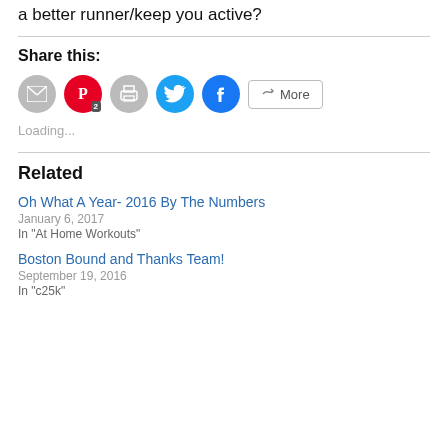a better runner/keep you active?
Share this:
[Figure (other): Social share buttons: email (grey circle), Pinterest (red circle with '2' badge), print (grey circle), Twitter (cyan circle), Facebook (blue circle), More button]
Loading...
Related
Oh What A Year- 2016 By The Numbers
January 6, 2017
In "At Home Workouts"
Boston Bound and Thanks Team!
September 19, 2016
In "c25k"